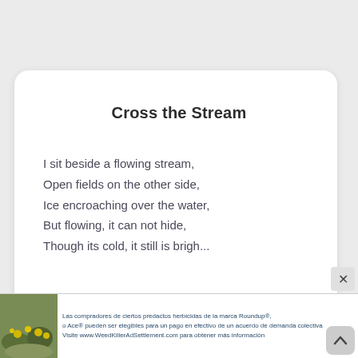Cross the Stream
I sit beside a flowing stream,
Open fields on the other side,
Ice encroaching over the water,
But flowing, it can not hide,
Though its cold, it still is brigh...
[Figure (other): Advertisement banner with photo of yellow flowers on rocks, Spanish text about Roundup herbicide class action settlement, with play button and close icons. Text reads: Las compradores de ciertos predactos herbicidas de la marca Roundup®, o Ace® pueden ser elegibles para un pago en efectivo de un acuerdo de demanda colectiva. Visite www.WeedKillerAdSettlement.com para obtener más información]